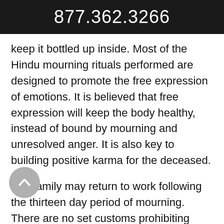877.362.3266
keep it bottled up inside. Most of the Hindu mourning rituals performed are designed to promote the free expression of emotions. It is believed that free expression will keep the body healthy, instead of bound by mourning and unresolved anger. It is also key to building positive karma for the deceased.
The family may return to work following the thirteen day period of mourning. There are no set customs prohibiting working